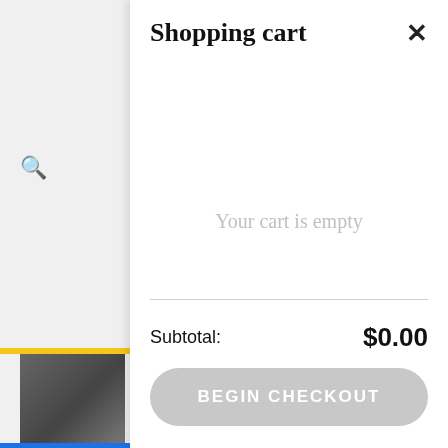Shopping cart
Your cart is empty
Subtotal: $0.00
BEGIN CHECKOUT